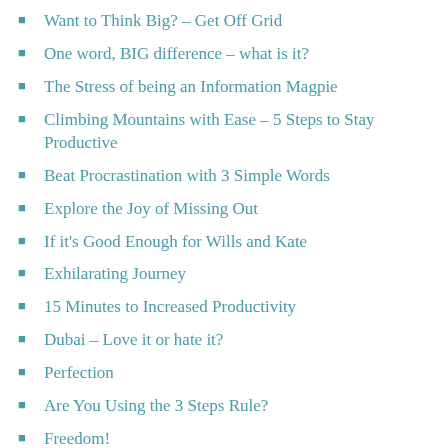Flourish
Want to Think Big? – Get Off Grid
One word, BIG difference – what is it?
The Stress of being an Information Magpie
Climbing Mountains with Ease – 5 Steps to Stay Productive
Beat Procrastination with 3 Simple Words
Explore the Joy of Missing Out
If it's Good Enough for Wills and Kate
Exhilarating Journey
15 Minutes to Increased Productivity
Dubai – Love it or hate it?
Perfection
Are You Using the 3 Steps Rule?
Freedom!